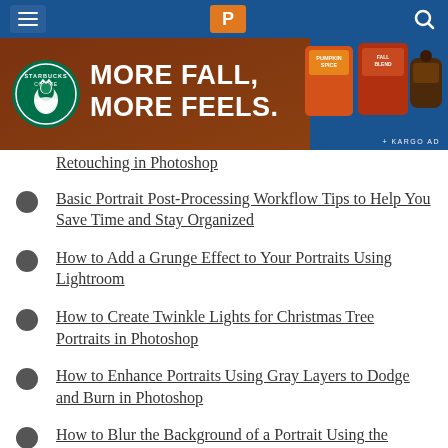[Figure (screenshot): Navigation bar with hamburger menu, P logo, and search icon on blue background]
[Figure (photo): Starbucks advertisement banner: MORE FALL, MORE FEELS. with Starbucks logo and product images of Pumpkin Spice and Fall Blend coffee on brown/blue background. + KARGO AD tag.]
Retouching in Photoshop
Basic Portrait Post-Processing Workflow Tips to Help You Save Time and Stay Organized
How to Add a Grunge Effect to Your Portraits Using Lightroom
How to Create Twinkle Lights for Christmas Tree Portraits in Photoshop
How to Enhance Portraits Using Gray Layers to Dodge and Burn in Photoshop
How to Blur the Background of a Portrait Using the Magnetic Lasso Tool in Photoshop